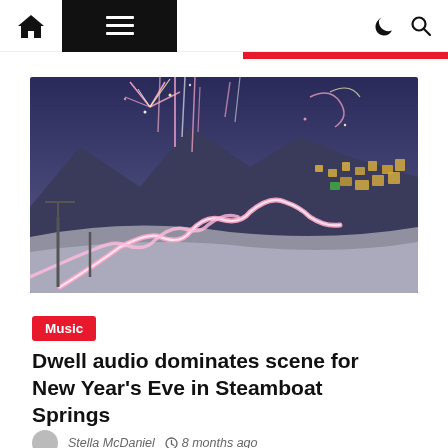Navigation bar with home icon, menu button, dark mode toggle, and search icon
[Figure (photo): Night photograph of a snowy ski slope in Steamboat Springs with light trails from skiers carrying torches forming winding pink/white streaks, fireworks bursting above, and ski resort buildings lit up in the background]
Music
Dwell audio dominates scene for New Year's Eve in Steamboat Springs
Stella McDaniel  8 months ago